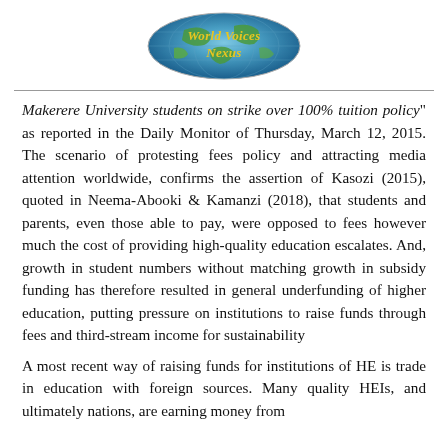[Figure (logo): World Voices Nexus logo — oval globe image with yellow italic text 'World Voices Nexus' overlaid]
Makerere University students on strike over 100% tuition policy" as reported in the Daily Monitor of Thursday, March 12, 2015. The scenario of protesting fees policy and attracting media attention worldwide, confirms the assertion of Kasozi (2015), quoted in Neema-Abooki & Kamanzi (2018), that students and parents, even those able to pay, were opposed to fees however much the cost of providing high-quality education escalates. And, growth in student numbers without matching growth in subsidy funding has therefore resulted in general underfunding of higher education, putting pressure on institutions to raise funds through fees and third-stream income for sustainability
A most recent way of raising funds for institutions of HE is trade in education with foreign sources. Many quality HEIs, and ultimately nations, are earning money from